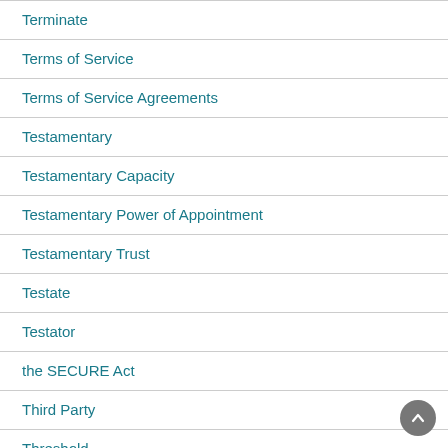Terminate
Terms of Service
Terms of Service Agreements
Testamentary
Testamentary Capacity
Testamentary Power of Appointment
Testamentary Trust
Testate
Testator
the SECURE Act
Third Party
Threshold